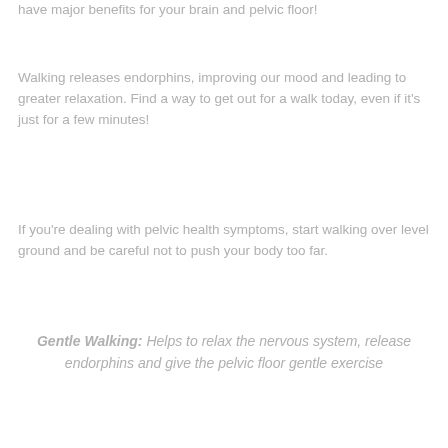have major benefits for your brain and pelvic floor!
Walking releases endorphins, improving our mood and leading to greater relaxation. Find a way to get out for a walk today, even if it's just for a few minutes!
If you're dealing with pelvic health symptoms, start walking over level ground and be careful not to push your body too far.
Gentle Walking: Helps to relax the nervous system, release endorphins and give the pelvic floor gentle exercise